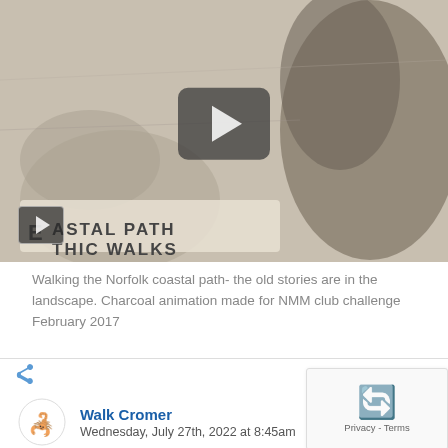[Figure (screenshot): Video thumbnail showing a pencil/charcoal drawing with text 'COASTAL PATH LITHIC WALKS' visible. A large play button is centered on the image, and a smaller play button icon is in the bottom-left corner.]
Walking the Norfolk coastal path- the old stories are in the landscape. Charcoal animation made for NMM club challenge February 2017
View on Facebook
Walk Cromer
Wednesday, July 27th, 2022 at 8:45am